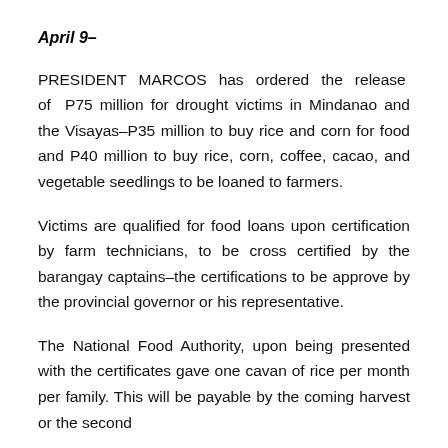April 9–
PRESIDENT MARCOS has ordered the release of P75 million for drought victims in Mindanao and the Visayas–P35 million to buy rice and corn for food and P40 million to buy rice, corn, coffee, cacao, and vegetable seedlings to be loaned to farmers.
Victims are qualified for food loans upon certification by farm technicians, to be cross certified by the barangay captains–the certifications to be approve by the provincial governor or his representative.
The National Food Authority, upon being presented with the certificates gave one cavan of rice per month per family. This will be payable by the coming harvest or the second